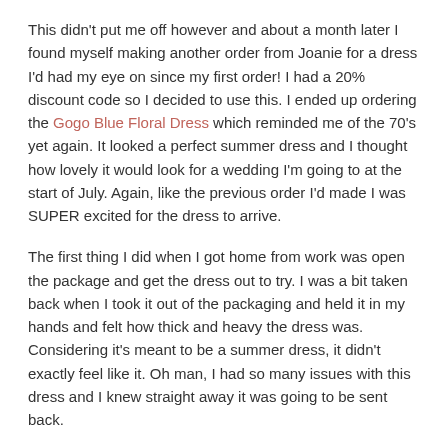This didn't put me off however and about a month later I found myself making another order from Joanie for a dress I'd had my eye on since my first order! I had a 20% discount code so I decided to use this. I ended up ordering the Gogo Blue Floral Dress which reminded me of the 70's yet again. It looked a perfect summer dress and I thought how lovely it would look for a wedding I'm going to at the start of July. Again, like the previous order I'd made I was SUPER excited for the dress to arrive.
The first thing I did when I got home from work was open the package and get the dress out to try. I was a bit taken back when I took it out of the packaging and held it in my hands and felt how thick and heavy the dress was. Considering it's meant to be a summer dress, it didn't exactly feel like it. Oh man, I had so many issues with this dress and I knew straight away it was going to be sent back.
As you'll see from the image, this is a long sleeved dress, which I knew I was buying but come on Joanie, a thick material for a summer dress